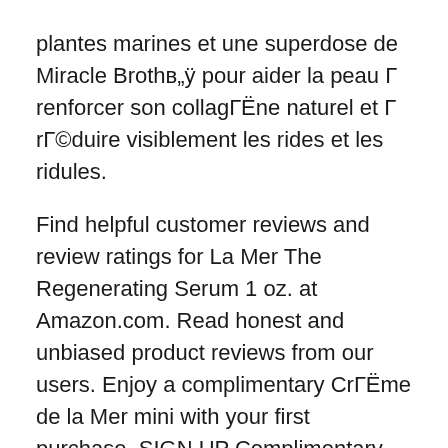plantes marines et une superdose de Miracle Brothв„ÿ pour aider la peau Г  renforcer son collagГËne naturel et Г  rГ©duire visiblement les rides et les ridules.
Find helpful customer reviews and review ratings for La Mer The Regenerating Serum 1 oz. at Amazon.com. Read honest and unbiased product reviews from our users. Enjoy a complimentary CrГËme de la Mer mini with your first purchase. SIGN UP Complimentary standard delivery, gift wrap & samples with every order. Online Exclusive: Customise your La Mer products with personalised engraving. DISCOVER Serums / The Regenerating Serum. The Regenerating Serum. Most Loved